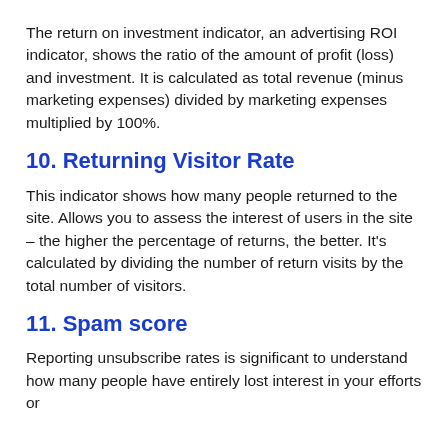The return on investment indicator, an advertising ROI indicator, shows the ratio of the amount of profit (loss) and investment. It is calculated as total revenue (minus marketing expenses) divided by marketing expenses multiplied by 100%.
10. Returning Visitor Rate
This indicator shows how many people returned to the site. Allows you to assess the interest of users in the site – the higher the percentage of returns, the better. It's calculated by dividing the number of return visits by the total number of visitors.
11. Spam score
Reporting unsubscribe rates is significant to understand how many people have entirely lost interest in your efforts or